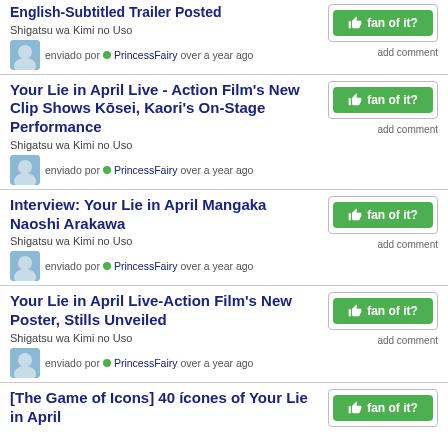English-Subtitled Trailer Posted
Shigatsu wa Kimi no Uso
enviado por PrincessFairy over a year ago
Your Lie in April Live - Action Film's New Clip Shows Kōsei, Kaori's On-Stage Performance
Shigatsu wa Kimi no Uso
enviado por PrincessFairy over a year ago
Interview: Your Lie in April Mangaka Naoshi Arakawa
Shigatsu wa Kimi no Uso
enviado por PrincessFairy over a year ago
Your Lie in April Live-Action Film's New Poster, Stills Unveiled
Shigatsu wa Kimi no Uso
enviado por PrincessFairy over a year ago
[The Game of Icons] 40 ícones of Your Lie in April